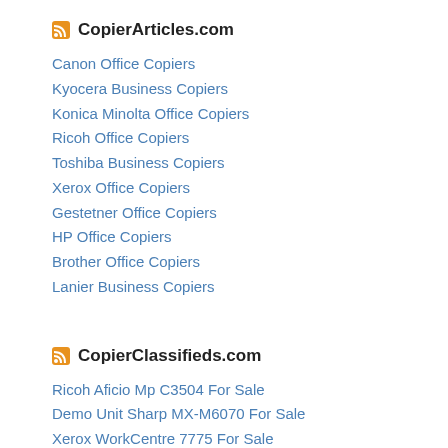CopierArticles.com
Canon Office Copiers
Kyocera Business Copiers
Konica Minolta Office Copiers
Ricoh Office Copiers
Toshiba Business Copiers
Xerox Office Copiers
Gestetner Office Copiers
HP Office Copiers
Brother Office Copiers
Lanier Business Copiers
CopierClassifieds.com
Ricoh Aficio Mp C3504 For Sale
Demo Unit Sharp MX-M6070 For Sale
Xerox WorkCentre 7775 For Sale
Sharp MX-M754N For Sale